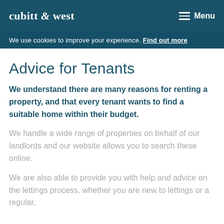cubitt & west   Menu
We use cookies to improve your experience. Find out more
Advice for Tenants
We understand there are many reasons for renting a property, and that every tenant wants to find a suitable home within their budget.
We handle a wide range of properties on behalf of our landlords and our website allows you to search these online.
We are also able to provide you with help and advice on the lettings process, whether you are new to lettings or a regular,